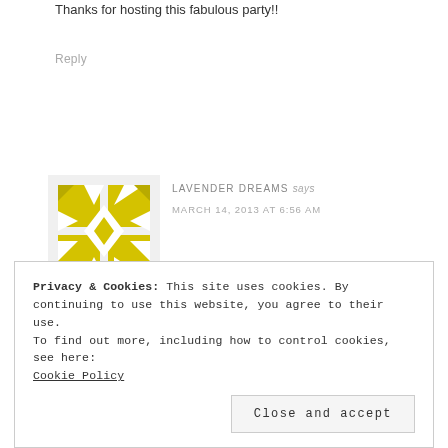Thanks for hosting this fabulous party!!
Reply
[Figure (illustration): Yellow geometric quilt-pattern avatar/icon for user Lavender Dreams]
LAVENDER DREAMS says
MARCH 14, 2013 AT 6:56 AM
Privacy & Cookies: This site uses cookies. By continuing to use this website, you agree to their use.
To find out more, including how to control cookies, see here:
Cookie Policy
Close and accept